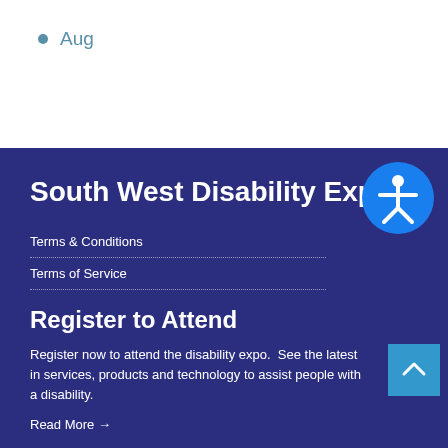Aug
South West Disability Expo
Terms & Conditions
Terms of Service
Register to Attend
Register now to attend the disability expo.  See the latest in services, products and technology to assist people with a disability.
Read More →